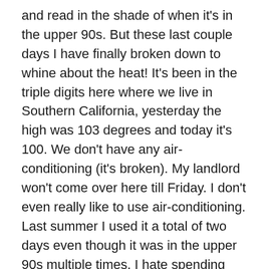and read in the shade of when it's in the upper 90s. But these last couple days I have finally broken down to whine about the heat! It's been in the triple digits here where we live in Southern California, yesterday the high was 103 degrees and today it's 100. We don't have any air-conditioning (it's broken). My landlord won't come over here till Friday. I don't even really like to use air-conditioning. Last summer I used it a total of two days even though it was in the upper 90s multiple times. I hate spending money on and I hate having to keep the windows closed. But this week is really getting to me. I think it's because our townhouse doesn't really get any cross breeze (because it's not an end unit so it's kind of boxed in), so it's stifling in here at night, especially upstairs were the bedrooms are. Last night I just felt really ill, I was getting heat cramps in my legs. My two main worries are